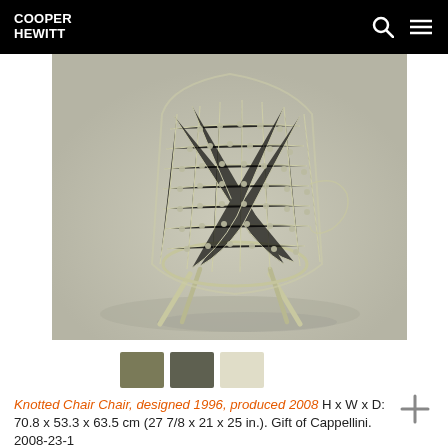COOPER HEWITT
[Figure (photo): Knotted Chair made of woven cord/rope in cream/beige color with four splayed legs, photographed against a light gray background. The chair has an open mesh structure formed by knotted cords.]
[Figure (infographic): Three color swatches: olive/khaki, dark olive/gray-green, and cream/off-white]
Knotted Chair Chair, designed 1996, produced 2008 H x W x D: 70.8 x 53.3 x 63.5 cm (27 7/8 x 21 x 25 in.). Gift of Cappellini. 2008-23-1